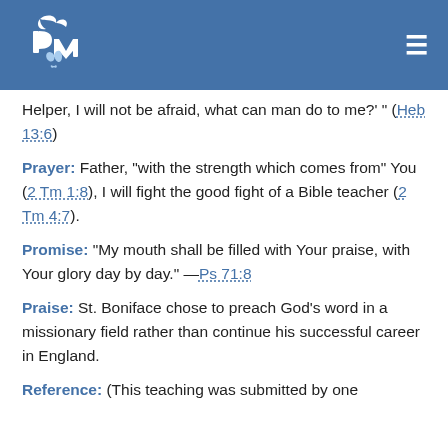PM [logo]
Helper, I will not be afraid, what can man do to me?' " (Heb 13:6)
Prayer:  Father, "with the strength which comes from" You (2 Tm 1:8), I will fight the good fight of a Bible teacher (2 Tm 4:7).
Promise:  "My mouth shall be filled with Your praise, with Your glory day by day." —Ps 71:8
Praise:  St. Boniface chose to preach God's word in a missionary field rather than continue his successful career in England.
Reference:  (This teaching was submitted by one